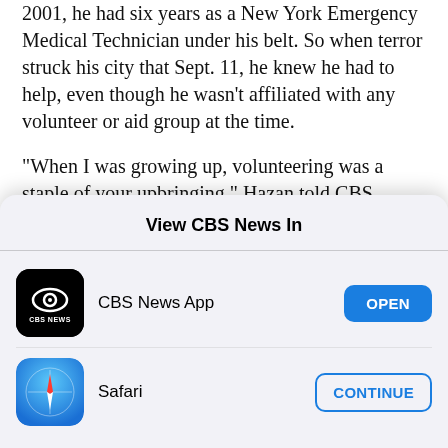2001, he had six years as a New York Emergency Medical Technician under his belt. So when terror struck his city that Sept. 11, he knew he had to help, even though he wasn't affiliated with any volunteer or aid group at the time.
"When I was growing up, volunteering was a staple of your upbringing," Hazan told CBS News. "On 9/11, it was in that spirit that I volunteered -- it wasn't even a choice."
View CBS News In
[Figure (logo): CBS News app icon - black square with rounded corners, CBS eye logo in white, 'CBS NEWS' text below]
CBS News App
[Figure (logo): Safari browser icon - blue gradient circle with compass needle]
Safari